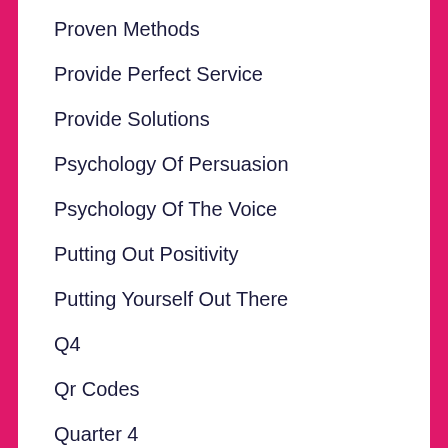Proven Methods
Provide Perfect Service
Provide Solutions
Psychology Of Persuasion
Psychology Of The Voice
Putting Out Positivity
Putting Yourself Out There
Q4
Qr Codes
Quarter 4